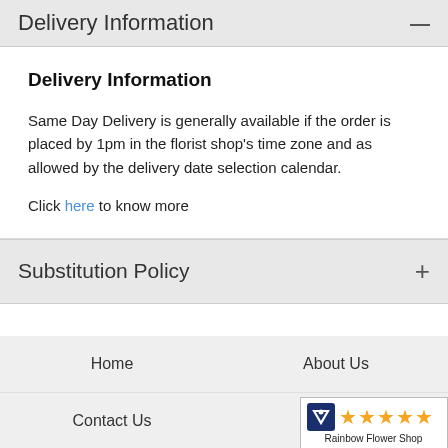Delivery Information —
Delivery Information
Same Day Delivery is generally available if the order is placed by 1pm in the florist shop's time zone and as allowed by the delivery date selection calendar.
Click here to know more
Substitution Policy +
Home   About Us   Contact Us   De...